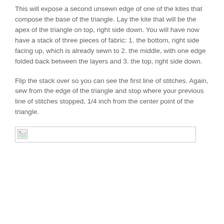This will expose a second unsewn edge of one of the kites that compose the base of the triangle.  Lay the kite that will be the apex of the triangle on top, right side down.  You will have now have a stack of three pieces of fabric: 1. the bottom, right side facing up, which is already sewn to 2. the middle, with one edge folded back between the layers and 3. the top, right side down.
Flip the stack over so you can see the first line of stitches.  Again, sew from the edge of the triangle and stop where your previous line of stitches stopped, 1/4 inch from the center point of the triangle.
[Figure (photo): Broken image placeholder icon shown in the top-left corner of an image container with a border line spanning across the page.]